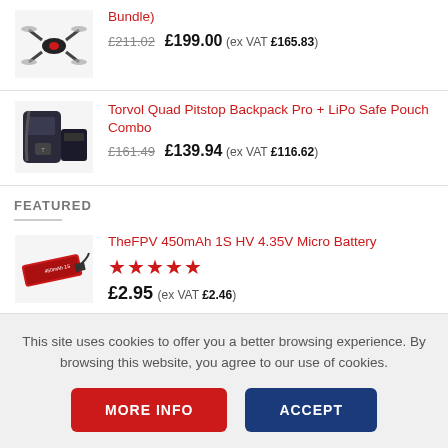[Figure (photo): Drone/quad product image (bundle)]
Bundle)
£211.02  £199.00 (ex VAT £165.83)
[Figure (photo): Torvol backpack and LiPo safe pouch product image]
Torvol Quad Pitstop Backpack Pro + LiPo Safe Pouch Combo
£161.49  £139.94 (ex VAT £116.62)
FEATURED
[Figure (photo): TheFPV 450mAh 1S HV 4.35V Micro Battery product image (red battery)]
TheFPV 450mAh 1S HV 4.35V Micro Battery
★★★★★
£2.95 (ex VAT £2.46)
This site uses cookies to offer you a better browsing experience. By browsing this website, you agree to our use of cookies.